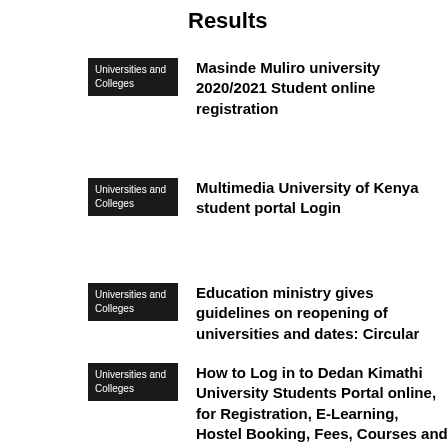Results
Universities and Colleges | Masinde Muliro university 2020/2021 Student online registration
Universities and Colleges | Multimedia University of Kenya student portal Login
Universities and Colleges | Education ministry gives guidelines on reopening of universities and dates: Circular
Universities and Colleges | How to Log in to Dedan Kimathi University Students Portal online, for Registration, E-Learning, Hostel Booking, Fees, Courses and Exam Results